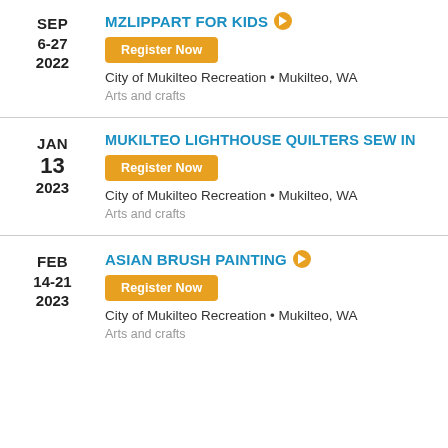SEP
6-27
2022
MZLIPPART FOR KIDS
Register Now
City of Mukilteo Recreation • Mukilteo, WA
Arts and crafts
JAN
13
2023
MUKILTEO LIGHTHOUSE QUILTERS SEW IN
Register Now
City of Mukilteo Recreation • Mukilteo, WA
Arts and crafts
FEB
14-21
2023
ASIAN BRUSH PAINTING
Register Now
City of Mukilteo Recreation • Mukilteo, WA
Arts and crafts